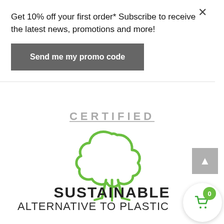Get 10% off your first order* Subscribe to receive the latest news, promotions and more!
[Figure (other): Dark grey button labeled 'Send me my promo code']
CERTIFIED
[Figure (illustration): Green outline tree icon representing sustainable/eco-friendly product]
SUSTAINABLE
ALTERNATIVE TO PLASTIC
[Figure (other): Grey back-to-top button with upward arrow]
[Figure (other): Shopping cart button with green badge showing 0]